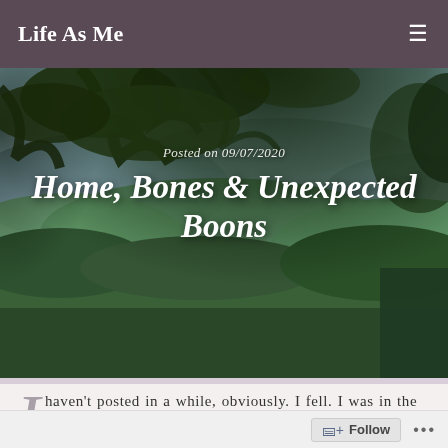Life As Me
[Figure (photo): Landscape photo showing mountains, green forested hills, blue sky, and tree branches in the foreground overhead. Post date 'Posted on 09/07/2020' and blog title 'Home, Bones & Unexpected Boons' overlaid on the image.]
Home, Bones & Unexpected Boons
Posted on 09/07/2020
I haven't posted in a while, obviously. I fell. I was in the hospital for a bit. I was strongly advised to stay longer, but i know from experience that the care and support i receive at home is far